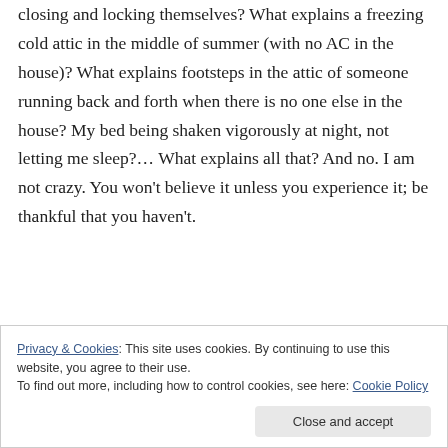closing and locking themselves? What explains a freezing cold attic in the middle of summer (with no AC in the house)? What explains footsteps in the attic of someone running back and forth when there is no one else in the house? My bed being shaken vigorously at night, not letting me sleep?... What explains all that? And no. I am not crazy. You won't believe it unless you experience it; be thankful that you haven't.
Privacy & Cookies: This site uses cookies. By continuing to use this website, you agree to their use.
To find out more, including how to control cookies, see here: Cookie Policy